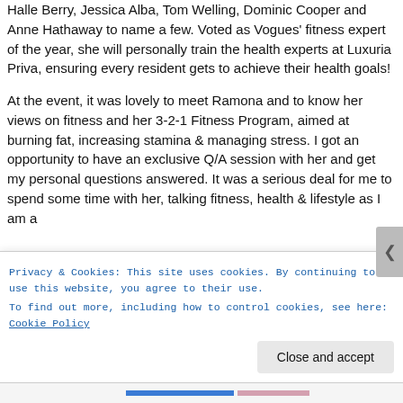Halle Berry, Jessica Alba, Tom Welling, Dominic Cooper and Anne Hathaway to name a few. Voted as Vogues' fitness expert of the year, she will personally train the health experts at Luxuria Priva, ensuring every resident gets to achieve their health goals!
At the event, it was lovely to meet Ramona and to know her views on fitness and her 3-2-1 Fitness Program, aimed at burning fat, increasing stamina & managing stress. I got an opportunity to have an exclusive Q/A session with her and get my personal questions answered. It was a serious deal for me to spend some time with her, talking fitness, health & lifestyle as I am a
Privacy & Cookies: This site uses cookies. By continuing to use this website, you agree to their use.
To find out more, including how to control cookies, see here: Cookie Policy
Close and accept